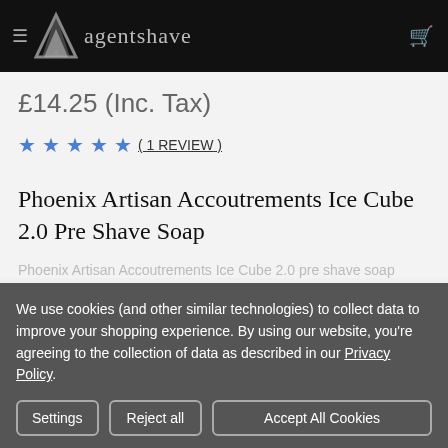agentshave
£14.25 (Inc. Tax)
★★★★★ ( 1 REVIEW )
Phoenix Artisan Accoutrements Ice Cube 2.0 Pre Shave Soap
Phoenix Artisan Accoutrements Ice Cube 2.0 pre shave soap
We use cookies (and other similar technologies) to collect data to improve your shopping experience. By using our website, you're agreeing to the collection of data as described in our Privacy Policy.
Settings | Reject all | Accept All Cookies